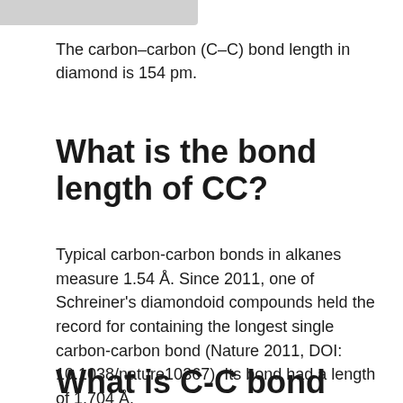The carbon–carbon (C–C) bond length in diamond is 154 pm.
What is the bond length of CC?
Typical carbon-carbon bonds in alkanes measure 1.54 Å. Since 2011, one of Schreiner's diamondoid compounds held the record for containing the longest single carbon-carbon bond (Nature 2011, DOI: 10.1038/nature10367). Its bond had a length of 1.704 Å.
What is C-C bond length in